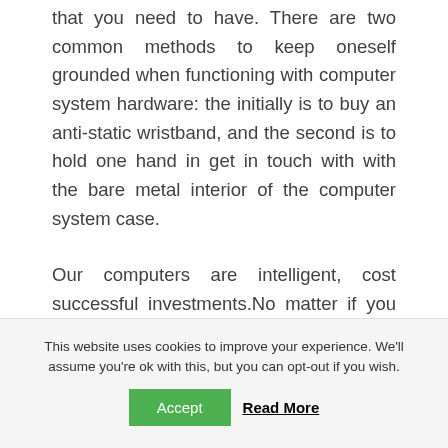that you need to have. There are two common methods to keep oneself grounded when functioning with computer system hardware: the initially is to buy an anti-static wristband, and the second is to hold one hand in get in touch with with the bare metal interior of the computer system case.
Our computers are intelligent, cost successful investments.No matter if you want to edit photos and videos or design and style space shuttles for NASA, iNET Computer will develop
This website uses cookies to improve your experience. We'll assume you're ok with this, but you can opt-out if you wish.